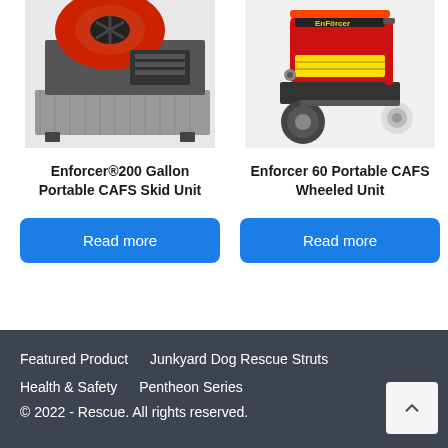[Figure (photo): Enforcer 200 Gallon Portable CAFS Skid Unit — industrial machine on diamond-plate skid with hose reel, partially cropped at top]
[Figure (photo): Enforcer 60 Portable CAFS Wheeled Unit — red wheeled fire suppression unit with Enforcer branding, partially cropped at top]
Enforcer®200 Gallon Portable CAFS Skid Unit
Enforcer 60 Portable CAFS Wheeled Unit
Read more
Read more
Featured Product   Junkyard Dog Rescue Struts
Health & Safety   Pentheon Series
© 2022 - Rescue. All rights reserved.